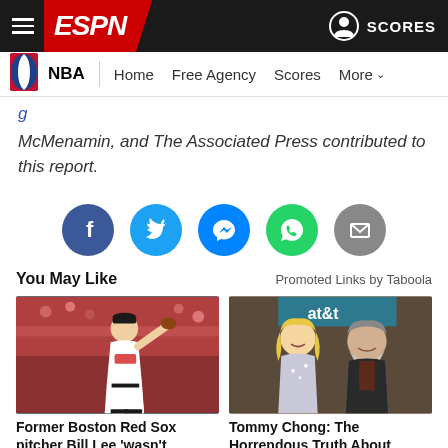ESPN NBA – Home Free Agency Scores More
McMenamin, and The Associated Press contributed to this report.
[Figure (infographic): Social share buttons: Facebook, Twitter, Messenger, WhatsApp, Email]
You May Like    Promoted Links by Taboola
[Figure (photo): Former Boston Red Sox pitcher Bill Lee in pitching stance on mound]
[Figure (photo): Tommy Chong and woman posing at AT&T event]
Former Boston Red Sox pitcher Bill Lee 'wasn't
Tommy Chong: The Horrendous Truth About